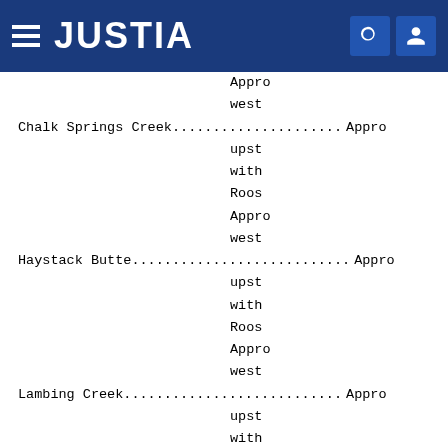JUSTIA
Appro... west...
Chalk Springs Creek..................... Appro... upst... with... Roos... Appro... west...
Haystack Butte.......................... Appro... upst... with... Roos... Appro... west...
Lambing Creek........................... Appro... upst... with...